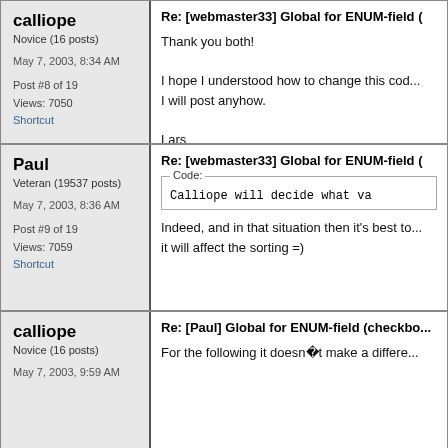calliope
Novice (16 posts)
May 7, 2003, 8:34 AM
Post #8 of 19
Views: 7050
Shortcut
Re: [webmaster33] Global for ENUM-field (
Thank you both!

I hope I understood how to change this co... I will post anyhow.

Lars
Paul
Veteran (19537 posts)
May 7, 2003, 8:36 AM
Post #9 of 19
Views: 7059
Shortcut
Re: [webmaster33] Global for ENUM-field (
Calliope will decide what va
Indeed, and in that situation then it's best to... it will affect the sorting =)
calliope
Novice (16 posts)
May 7, 2003, 9:59 AM
Re: [Paul] Global for ENUM-field (checkbo...
For the following it doesn�t make a differe...